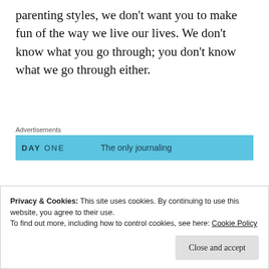parenting styles, we don't want you to make fun of the way we live our lives. We don't know what you go through; you don't know what we go through either.
[Figure (other): Advertisement banner for 'DAY ONE' app with blue background and text 'The only journaling']
The condescending tone was too much for me. I haven't quite transcended the way
Privacy & Cookies: This site uses cookies. By continuing to use this website, you agree to their use.
To find out more, including how to control cookies, see here: Cookie Policy
Close and accept